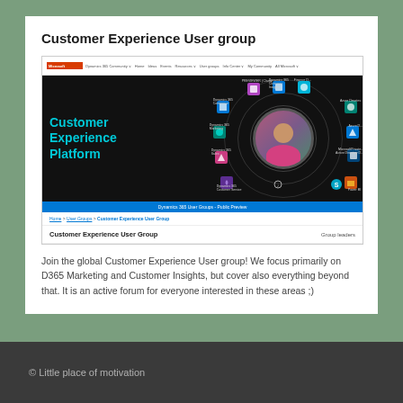Customer Experience User group
[Figure (screenshot): Screenshot of the Microsoft Dynamics 365 Community website showing the Customer Experience User Group page. Header has navigation bar with Microsoft logo and community links. Main banner shows 'Customer Experience Platform' in cyan text on a dark background with concentric rings and a woman's photo in a circular cutout, surrounded by product icons. A blue bar reads 'Dynamics 365 User Groups - Public Preview'. Below is a breadcrumb 'Home > User Groups > Customer Experience User Group' and a section header showing 'Customer Experience User Group' and 'Group leaders'.]
Join the global Customer Experience User group! We focus primarily on D365 Marketing and Customer Insights, but cover also everything beyond that. It is an active forum for everyone interested in these areas ;)
© Little place of motivation